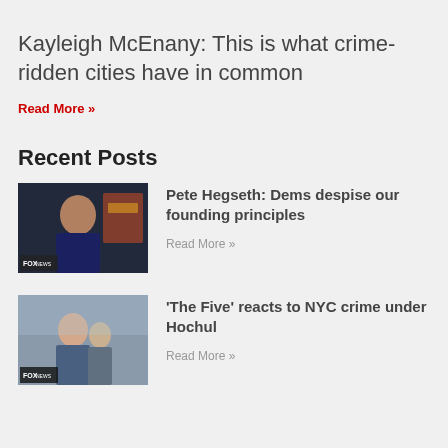Kayleigh McEnany: This is what crime-ridden cities have in common
Read More »
Recent Posts
[Figure (photo): Fox News TV screenshot showing a man in a suit against a dark background with Fox News logo]
Pete Hegseth: Dems despise our founding principles
Read More »
[Figure (photo): Fox News screenshot showing a woman and people in outdoor setting with Fox News logo]
'The Five' reacts to NYC crime under Hochul
Read More »